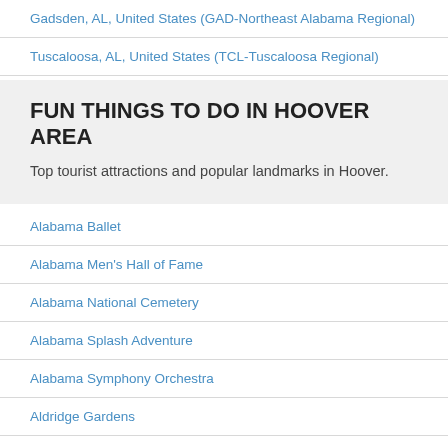Gadsden, AL, United States (GAD-Northeast Alabama Regional)
Tuscaloosa, AL, United States (TCL-Tuscaloosa Regional)
FUN THINGS TO DO IN HOOVER AREA
Top tourist attractions and popular landmarks in Hoover.
Alabama Ballet
Alabama Men's Hall of Fame
Alabama National Cemetery
Alabama Splash Adventure
Alabama Symphony Orchestra
Aldridge Gardens